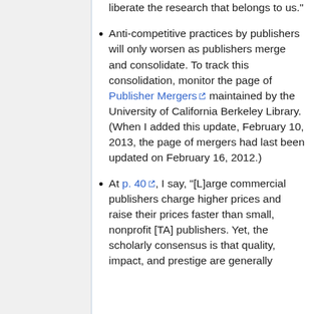liberate the research that belongs to us."
Anti-competitive practices by publishers will only worsen as publishers merge and consolidate. To track this consolidation, monitor the page of Publisher Mergers maintained by the University of California Berkeley Library. (When I added this update, February 10, 2013, the page of mergers had last been updated on February 16, 2012.)
At p. 40, I say, "[L]arge commercial publishers charge higher prices and raise their prices faster than small, nonprofit [TA] publishers. Yet, the scholarly consensus is that quality, impact, and prestige are generally